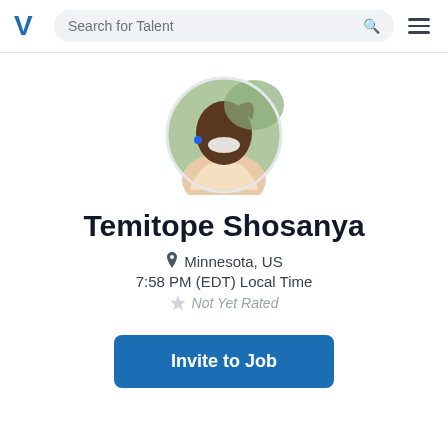Search for Talent
[Figure (photo): Circular profile photo of Temitope Shosanya, a smiling woman with short hair, raised hand, wearing a light jacket and necklace]
Temitope Shosanya
Minnesota, US
7:58 PM (EDT) Local Time
Not Yet Rated
Invite to Job